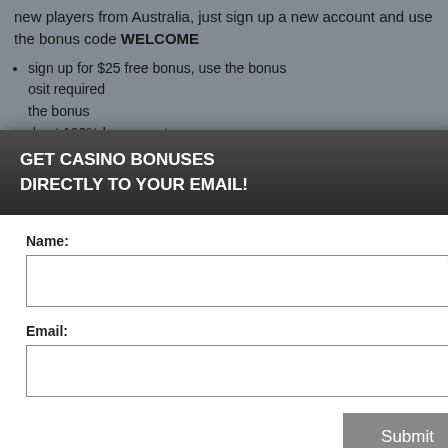new players from Australia, just sign up a new account and use the bonus code WELCOME
sign up for $25 free bonus, use the bonus
osit required
the bonus
d get 100% bonus up to
wed to participate if you are at least determined by the laws of the country s apply. Play responsibly. 18+
perience, we use Using this site, kie & privacy policy.
[Figure (screenshot): Yellow button partially visible]
GET CASINO BONUSES
DIRECTLY TO YOUR EMAIL!
Name:
Email:
Submit
By subscribing you are certifying that you have reviewed and accepted our updated Privacy and Cookie policy.